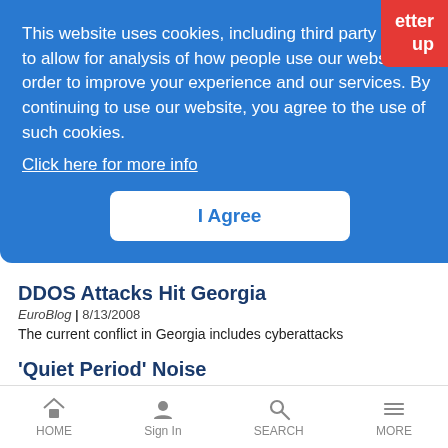This website uses cookies, including third party ones, to allow for analysis of how people use our website in order to improve your experience and our services. By continuing to use our website, you agree to the use of such cookies.
Click here for more info
I Agree
DDOS Attacks Hit Georgia
EuroBlog | 8/13/2008
The current conflict in Georgia includes cyberattacks
'Quiet Period' Noise
The Bauminator | 8/13/2008
HOME   Sign In   SEARCH   MORE